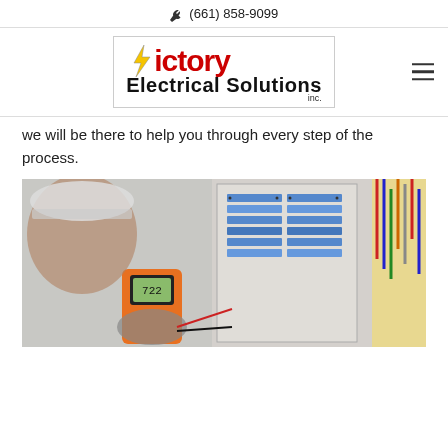(661) 858-9099
[Figure (logo): Victory Electrical Solutions Inc. logo with lightning bolt and red/black text]
we will be there to help you through every step of the process.
[Figure (photo): Electrician wearing hard hat and gloves using a multimeter on an electrical panel with wires]